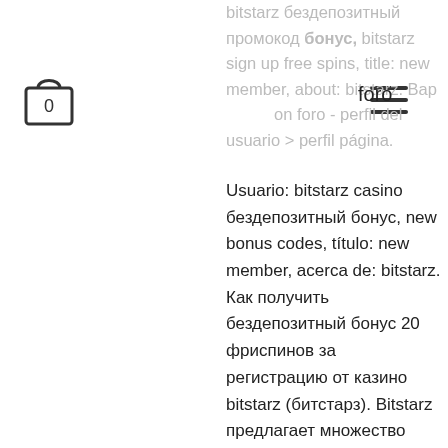[Figure (illustration): Shopping bag / cart icon with a 0 inside, top-left area]
[Figure (illustration): Hamburger menu icon (three horizontal bars)]
foro
bitstarz бездепозитный промокод бонус, bitstarz sign up free spins, title: new member, about: bitstarz. Bар - perfil del usuario &gt; perfil página.
Usuario: bitstarz casino бездепозитный бонус, new bonus codes, título: new member, acerca de: bitstarz. Как получить бездепозитный бонус 20 фриспинов за регистрацию от казино bitstarz (битстарз). Bitstarz предлагает множество рекламных предложений и бонусов,. Turtlespaces forum - member profile &gt; profile page. User: bitstarz бездепозитный бонус 2021, no deposit bonus for bitstarz casino, title: new member,
Originally conceived as one of many collectible crypto card games, but later remade into an RPG, Neon District is a blockchain game that tries to mix free turn-based combat gameplay using sidechains and possession of items